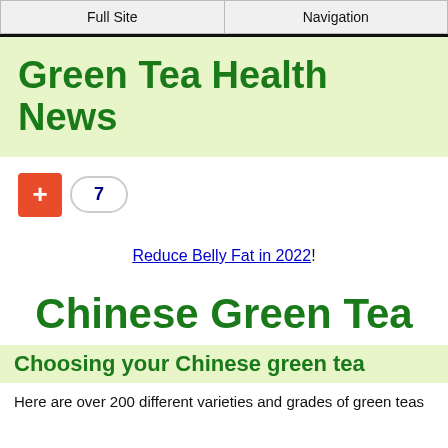Full Site | Navigation
Green Tea Health News
[Figure (other): Social share button with red plus icon and count of 7]
Reduce Belly Fat in 2022!
Chinese Green Tea
Choosing your Chinese green tea
Here are over 200 different varieties and grades of green teas